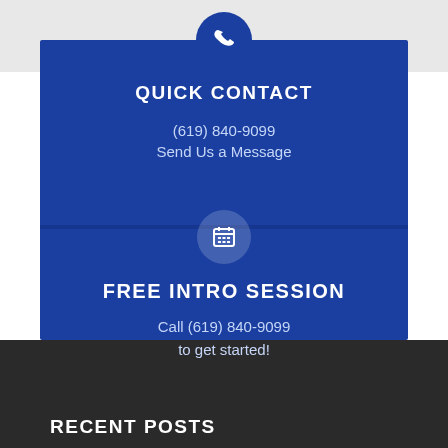QUICK CONTACT
(619) 840-9099
Send Us a Message
FREE INTRO SESSION
Call (619) 840-9099
to get started!
RECENT POSTS